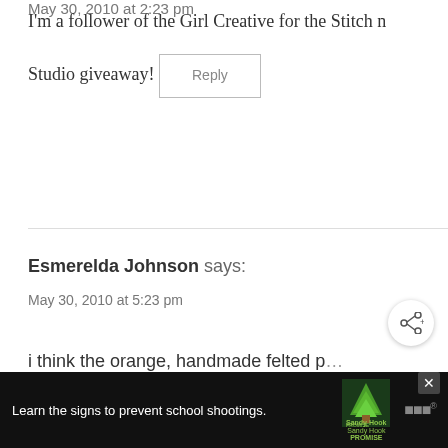May 30, 2010 at 2:23 pm (partial)
I'm a follower of the Girl Creative for the Stitch n Studio giveaway!
Reply
Esmerelda Johnson says:
May 30, 2010 at 5:23 pm
i think the orange, handmade felted p... really great, honestly i liked just about e...
[Figure (infographic): WHAT'S NEXT arrow label with thumbnail image and text: Free Pumpkin Spice SVG]
[Figure (infographic): Sandy Hook Promise advertisement banner: Learn the signs to prevent school shootings, with tree logo and close button. Also shows Webby awards logo.]